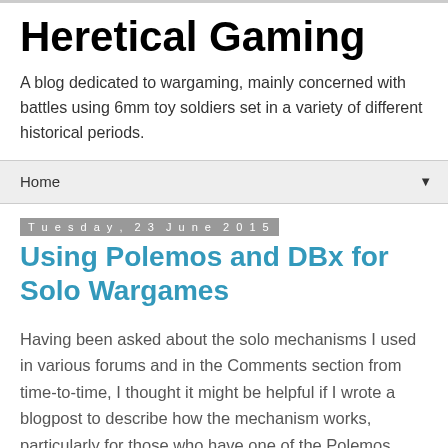Heretical Gaming
A blog dedicated to wargaming, mainly concerned with battles using 6mm toy soldiers set in a variety of different historical periods.
Home
Tuesday, 23 June 2015
Using Polemos and DBx for Solo Wargames
Having been asked about the solo mechanisms I used in various forums and in the Comments section from time-to-time, I thought it might be helpful if I wrote a blogpost to describe how the mechanism works, particularly for those who have one of the Polemos rulesets and are thinking of using them for solitaire games.